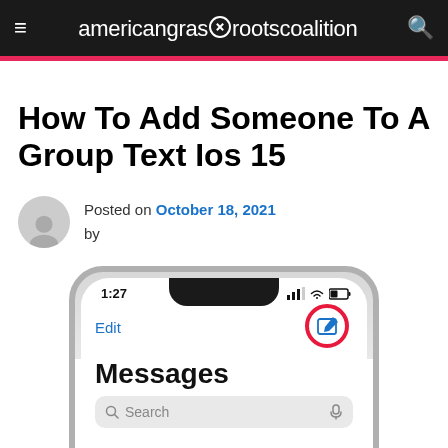americangrassrootscoalition
How To Add Someone To A Group Text Ios 15
Posted on October 18, 2021 by
[Figure (screenshot): Screenshot of iPhone showing Messages app with compose button circled in red. Status bar shows 1:27 time. Edit button visible top left, Messages heading and Search bar visible.]